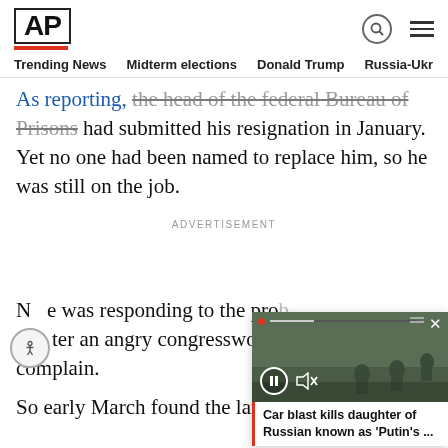AP
Trending News  Midterm elections  Donald Trump  Russia-Ukr
As reporting, the head of the federal Bureau of Prisons had submitted his resignation in January. Yet no one had been named to replace him, so he was still on the job.
ADVERTISEMENT
No one was responding to the prob… after an angry congresswoman… complain.
So early March found the lame-duc… flash all but a defense of a prison…
[Figure (screenshot): Video overlay showing military personnel with caption: Car blast kills daughter of Russian known as 'Putin's ...']